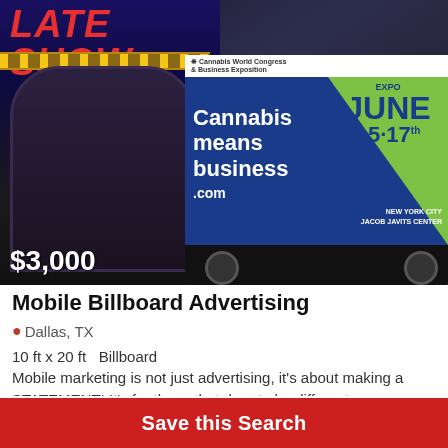[Figure (photo): A mobile billboard truck parked near the Late Show marquee in New York City. The truck displays a blue and green billboard reading 'Cannabis means business.com' with 'EXPO JUNE 15-17th NEW YORK CITY JACOB JAVITS CENTER'. A price overlay of $3,000 appears in the bottom-left corner.]
Mobile Billboard Advertising
Dallas, TX
10 ft x 20 ft  Billboard
Mobile marketing is not just advertising, it's about making a STATEMENT! It's for those that dare to be different.
Imagine your creative piece rolling down the busy streets
Save this Search